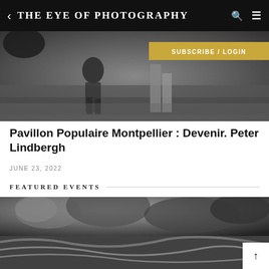THE EYE OF PHOTOGRAPHY
[Figure (photo): Black and white photograph showing a child and an adult walking, outdoor scene]
Pavillon Populaire Montpellier : Devenir. Peter Lindbergh
JUNE 23, 2022
FEATURED EVENTS
[Figure (photo): Black and white photograph of a dramatic sky with clouds and turbulent water or landscape]